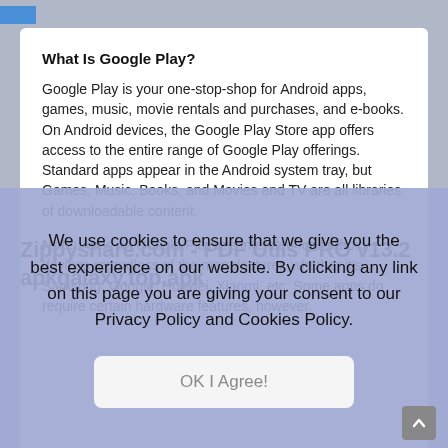What Is Google Play?
Google Play is your one-stop-shop for Android apps, games, music, movie rentals and purchases, and e-books. On Android devices, the Google Play Store app offers access to the entire range of Google Play offerings. Standard apps appear in the Android system tray, but Games, Music, Books, and Movies and TV are all libraries of downloadable content.
Note: Apps on Google Play are intended for Android devices regardless of the manufacturer, whether it's Samsung, Google, Huawei, Xiaomi, etc. Some apps do require certain hardware features, however.
Zippyshare.com - PDF Utils PRO v13.2 apkgalaxy.top.apk
We use cookies to ensure that we give you the best experience on our website. By clicking any link on this page you are giving your consent to our Privacy Policy and Cookies Policy.
OK I Agree!